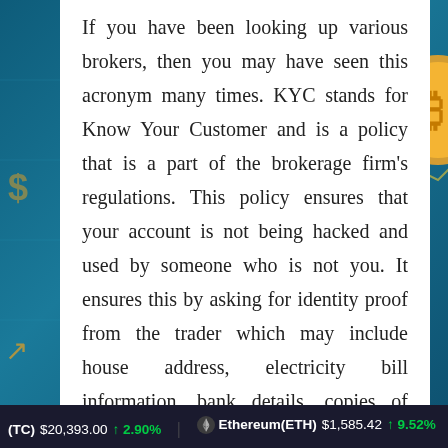If you have been looking up various brokers, then you may have seen this acronym many times. KYC stands for Know Your Customer and is a policy that is a part of the brokerage firm's regulations. This policy ensures that your account is not being hacked and used by someone who is not you. It ensures this by asking for identity proof from the trader which may include house address, electricity bill information, bank details, copies of government-issued identity
(BTC) $20,393.00 ↑ 2.90%   Ethereum(ETH) $1,585.42 ↑ 9.52%